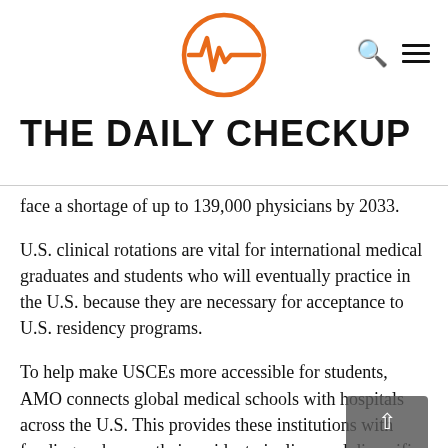[Figure (logo): Orange circular logo with a heartbeat/pulse waveform symbol inside, representing The Daily Checkup medical website logo]
THE DAILY CHECKUP
face a shortage of up to 139,000 physicians by 2033.
U.S. clinical rotations are vital for international medical graduates and students who will eventually practice in the U.S. because they are necessary for acceptance to U.S. residency programs.
To help make USCEs more accessible for students, AMO connects global medical schools with hospitals across the U.S. This provides these institutions with funding, enhances their resident pipeline, and diversifies their institution's workforce to meet a diverse patient population.